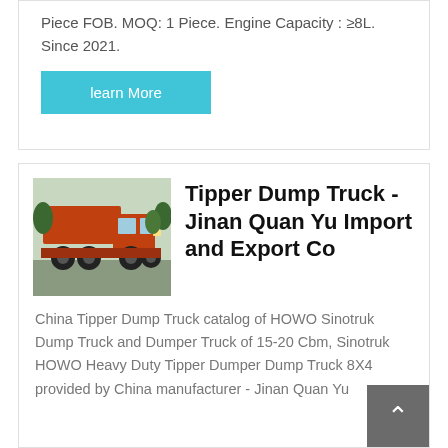Piece FOB. MOQ: 1 Piece. Engine Capacity : ≥8L. Since 2021.
learn More
[Figure (photo): Orange Tipper Dump Truck parked in a lot, side/front view]
Tipper Dump Truck - Jinan Quan Yu Import and Export Co
China Tipper Dump Truck catalog of HOWO Sinotruk Dump Truck and Dumper Truck of 15-20 Cbm, Sinotruk HOWO Heavy Duty Tipper Dumper Dump Truck 8X4 provided by China manufacturer - Jinan Quan Yu